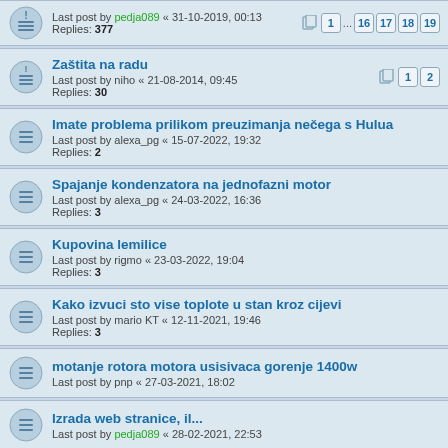Last post by pedja089 « 31-10-2019, 00:13
Replies: 377
Pages: 1 ... 16 17 18 19
Zaštita na radu
Last post by niho « 21-08-2014, 09:45
Replies: 30
Pages: 1 2
Imate problema prilikom preuzimanja nečega s Hulua
Last post by alexa_pg « 15-07-2022, 19:32
Replies: 2
Spajanje kondenzatora na jednofazni motor
Last post by alexa_pg « 24-03-2022, 16:36
Replies: 3
Kupovina lemilice
Last post by rigmo « 23-03-2022, 19:04
Replies: 3
Kako izvuci sto vise toplote u stan kroz cijevi
Last post by mario KT « 12-11-2021, 19:46
Replies: 3
motanje rotora motora usisivaca gorenje 1400w
Last post by pnp « 27-03-2021, 18:02
Izrada web stranice, il...
Last post by pedja089 « 28-02-2021, 22:53
PIR SENZOR HC-SR 501 PITANJE
Last post by zarec « 31-12-2020, 19:51
Replies: 2
nije Trump, ali je golf
Last post by bob4 « 11-11-2020, 21:12